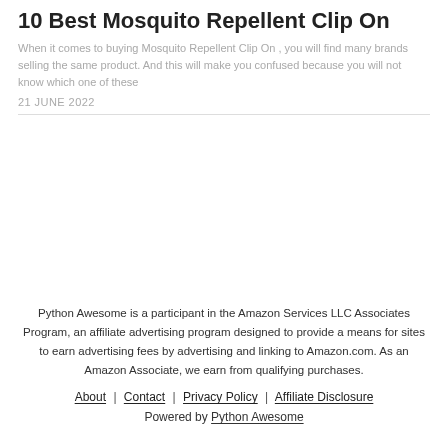10 Best Mosquito Repellent Clip On
When it comes to buying Mosquito Repellent Clip On , you will find many brands selling the same product. And this will make you confused because you will not know which one of these
21 JUNE 2022
Python Awesome is a participant in the Amazon Services LLC Associates Program, an affiliate advertising program designed to provide a means for sites to earn advertising fees by advertising and linking to Amazon.com. As an Amazon Associate, we earn from qualifying purchases.
About | Contact | Privacy Policy | Affiliate Disclosure
Powered by Python Awesome